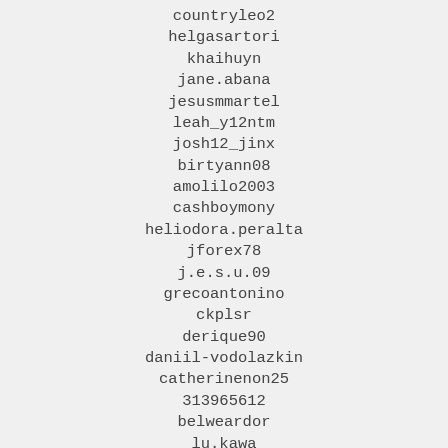countryleo2
helgasartori
khaihuyn
jane.abana
jesusmmartel
leah_y12ntm
josh12_jinx
birtyann08
amolilo2003
cashboymony
heliodora.peralta
jforex78
j.e.s.u.09
grecoantonino
ckplsr
derique90
daniil-vodolazkin
catherinenon25
313965612
belweardor
lu.kawa
brittanygenao
anapereira1977
katzouzout